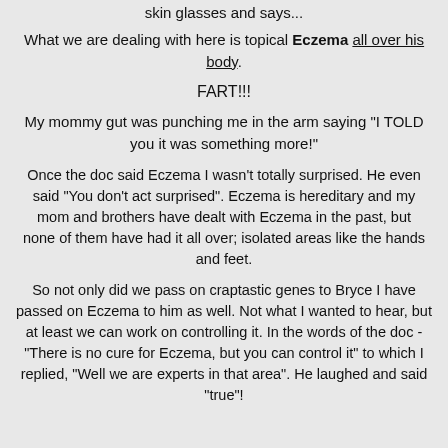skin glasses and says...
What we are dealing with here is topical Eczema all over his body.
FART!!!
My mommy gut was punching me in the arm saying "I TOLD you it was something more!"
Once the doc said Eczema I wasn't totally surprised. He even said "You don't act surprised". Eczema is hereditary and my mom and brothers have dealt with Eczema in the past, but none of them have had it all over; isolated areas like the hands and feet.
So not only did we pass on craptastic genes to Bryce I have passed on Eczema to him as well. Not what I wanted to hear, but at least we can work on controlling it. In the words of the doc - "There is no cure for Eczema, but you can control it" to which I replied, "Well we are experts in that area". He laughed and said "true"!